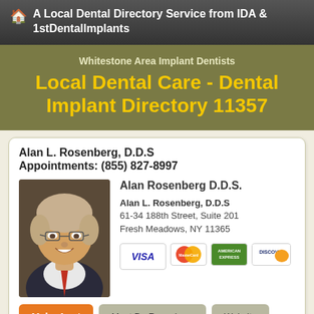A Local Dental Directory Service from IDA & 1stDentalImplants
Local Dental Care - Dental Implant Directory 11357
Whitestone Area Implant Dentists
Alan L. Rosenberg, D.D.S
Appointments: (855) 827-8997
[Figure (photo): Portrait photo of Dr. Alan Rosenberg, a middle-aged man with light hair and glasses, smiling, wearing a suit with a red tie]
Alan Rosenberg D.D.S.
Alan L. Rosenberg, D.D.S
61-34 188th Street, Suite 201
Fresh Meadows, NY 11365
[Figure (other): Credit card logos: VISA, MasterCard, American Express, Discover]
Make Appt   Meet Dr. Rosenberg   Website
more info ...